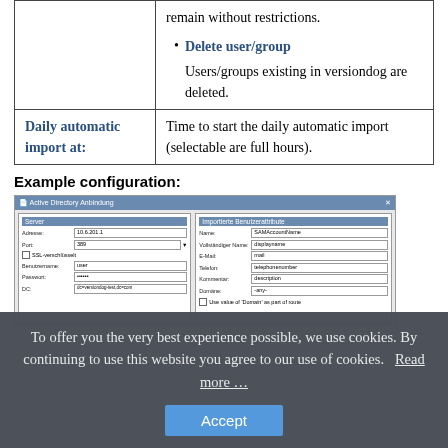|  | remain without restrictions.
• Delete user/group
Users/groups existing in versiondog are deleted. |
| Daily automatic import at: | Time to start the daily automatic import (selectable are full hours). |
Example configuration:
[Figure (screenshot): Screenshot of Active Directory configuration dialog showing server settings (Address: 10.6.201.1, Port: 389, SSL encrypted checkbox, Benutzername: user, Password: ••••••, DC field) and imported user attributes panel (Name: SAMAccountName, Vollständiger Name: displayname, E-Mail: mail, Telefon: telephonenumber, Kommentar: description, Domäne: -any-, Use value of 'Domain' as part of route checkbox)]
To offer you the very best experience possible, we use cookies. By continuing to use this website you agree to our use of cookies.   Read more …
Accept